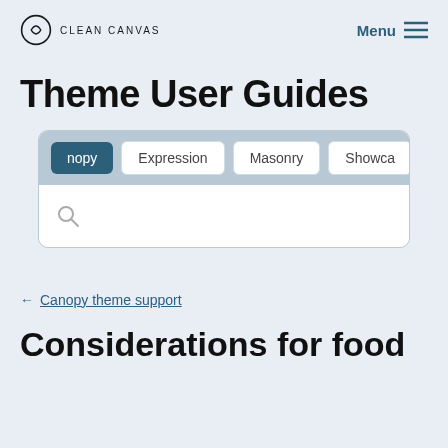CLEAN CANVAS  Menu
Theme User Guides
[Figure (screenshot): Tab navigation widget with tabs: Canopy (active, dark teal), Expression, Masonry, Showcase, and a search bar below with a magnifying glass icon]
← Canopy theme support
Considerations for food